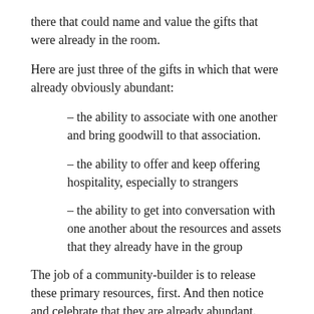there that could name and value the gifts that were already in the room.
Here are just three of the gifts in which that were already obviously abundant:
– the ability to associate with one another and bring goodwill to that association.
– the ability to offer and keep offering hospitality, especially to strangers
– the ability to get into conversation with one another about the resources and assets that they already have in the group
The job of a community-builder is to release these primary resources, first. And then notice and celebrate that they are already abundant.